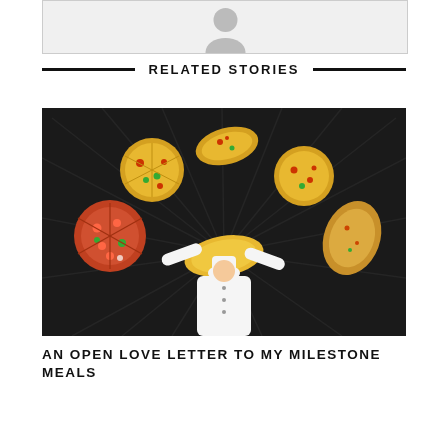[Figure (illustration): Avatar/profile placeholder image showing a grey silhouette of a person's head and shoulders on a light grey background]
RELATED STORIES
[Figure (illustration): Illustration of a chef in white uniform lying on dark background tossing various pizzas in the air, surrounded by radiating light lines]
AN OPEN LOVE LETTER TO MY MILESTONE MEALS